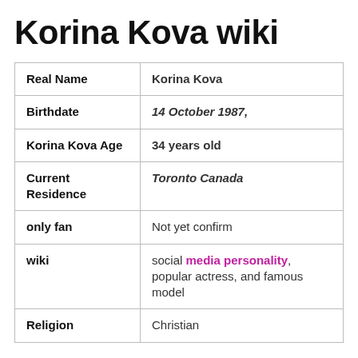Korina Kova wiki
| Real Name | Korina Kova |
| Birthdate | 14 October 1987, |
| Korina Kova Age | 34 years old |
| Current Residence | Toronto Canada |
| only fan | Not yet confirm |
| wiki | social media personality, popular actress, and famous model |
| Religion | Christian |